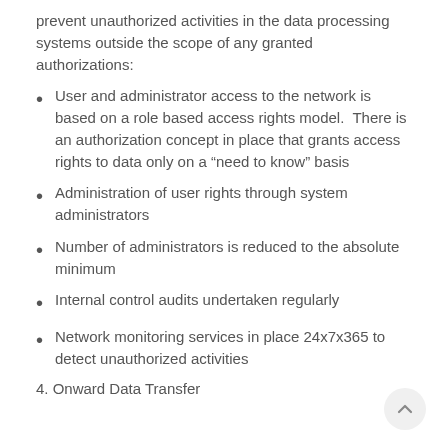prevent unauthorized activities in the data processing systems outside the scope of any granted authorizations:
User and administrator access to the network is based on a role based access rights model.  There is an authorization concept in place that grants access rights to data only on a “need to know” basis
Administration of user rights through system administrators
Number of administrators is reduced to the absolute minimum
Internal control audits undertaken regularly
Network monitoring services in place 24x7x365 to detect unauthorized activities
4. Onward Data Transfer